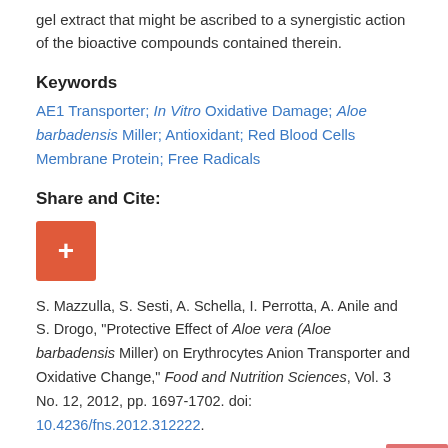gel extract that might be ascribed to a synergistic action of the bioactive compounds contained therein.
Keywords
AE1 Transporter; In Vitro Oxidative Damage; Aloe barbadensis Miller; Antioxidant; Red Blood Cells Membrane Protein; Free Radicals
Share and Cite:
[Figure (other): Red plus button for Share and Cite action]
S. Mazzulla, S. Sesti, A. Schella, I. Perrotta, A. Anile and S. Drogo, "Protective Effect of Aloe vera (Aloe barbadensis Miller) on Erythrocytes Anion Transporter and Oxidative Change," Food and Nutrition Sciences, Vol. 3 No. 12, 2012, pp. 1697-1702. doi: 10.4236/fns.2012.312222.
Conflicts of Interest
The authors declare no conflicts of interest.